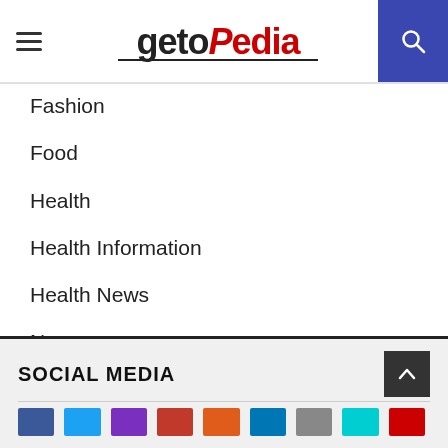getopedia
Fashion
Food
Health
Health Information
Health News
News
Sports
Tech
Travel
Uncategorized
SOCIAL MEDIA